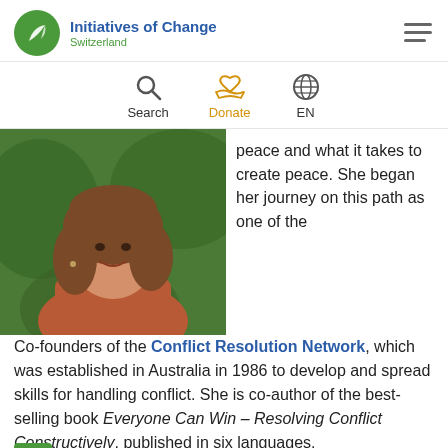Initiatives of Change Switzerland
[Figure (logo): Initiatives of Change Switzerland logo with green circle and leaf icon]
[Figure (infographic): Navigation icons: Search (magnifying glass), Donate (heart and hand in orange), EN globe icon]
[Figure (photo): Portrait photo of a smiling middle-aged woman with brown hair, wearing a rust/terracotta top, outdoors with green foliage background]
peace and what it takes to create peace. She began her journey on this path as one of the Co-founders of the Conflict Resolution Network, which was established in Australia in 1986 to develop and spread skills for handling conflict. She is co-author of the best-selling book Everyone Can Win – Resolving Conflict Constructively, published in six languages. Shoshana has delivered over 1,250 workshops
Back